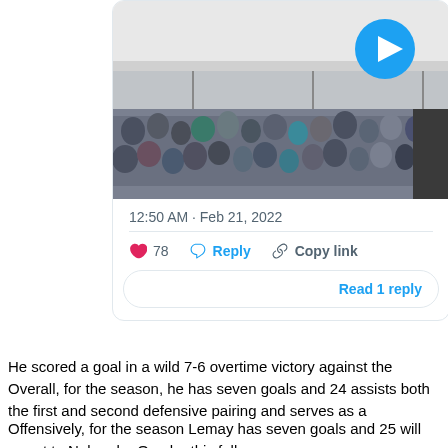[Figure (screenshot): Twitter/X tweet screenshot showing a video thumbnail of a hockey game crowd scene with a blue play button, timestamp 12:50 AM Feb 21, 2022, 78 likes, Reply, Copy link actions, and a Read 1 reply button]
He scored a goal in a wild 7-6 overtime victory against the Overall, for the season, he has seven goals and 24 assists both the first and second defensive pairing and serves as a
Offensively, for the season Lemay has seven goals and 25 will report to Nebraska-Omaha this fall.